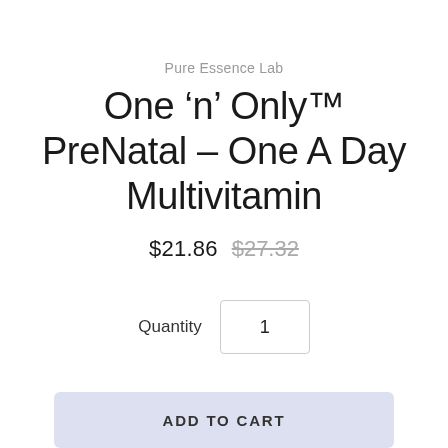Pure Essence Lab
One ‘n’ Only™ PreNatal – One A Day Multivitamin
$21.86  $27.32
Quantity  1
ADD TO CART